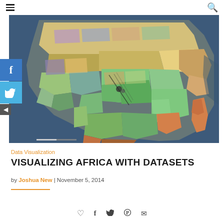Navigation bar with hamburger menu and search icon
[Figure (map): Colorful map of Africa overlaid with linguistic/ethnic regions dataset, showing Africa continent with surrounding ocean in dark blue, and various colored regions across the continent representing different datasets]
Data Visualization
VISUALIZING AFRICA WITH DATASETS
by Joshua New | November 5, 2014